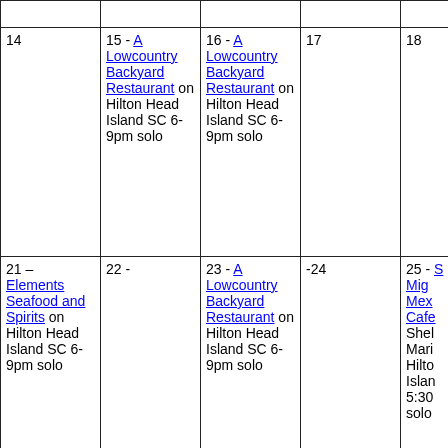|  |  |  |  |  |
| 14 | 15 - A Lowcountry Backyard Restaurant on Hilton Head Island SC 6-9pm solo | 16 - A Lowcountry Backyard Restaurant on Hilton Head Island SC 6-9pm solo | 17 | 18 |
| 21 – Elements Seafood and Spirits on Hilton Head Island SC 6-9pm solo | 22 - | 23 - A Lowcountry Backyard Restaurant on Hilton Head Island SC 6-9pm solo | -24 | 25 - S Mig Mex Cafe Shel Mari Hilto Islan 5:30 solo |
| 28 - | 29 - A | 30 - A | 31 - |  |